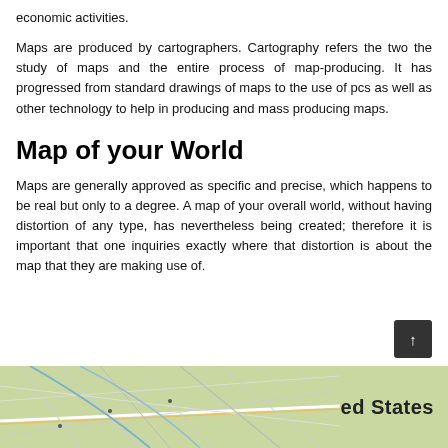economic activities.
Maps are produced by cartographers. Cartography refers the two the study of maps and the entire process of map-producing. It has progressed from standard drawings of maps to the use of pcs as well as other technology to help in producing and mass producing maps.
Map of your World
Maps are generally approved as specific and precise, which happens to be real but only to a degree. A map of your overall world, without having distortion of any type, has nevertheless being created; therefore it is important that one inquiries exactly where that distortion is about the map that they are making use of.
[Figure (map): Partial view of a United States road map with green background, showing road network and the text 'United States' in bold on the right side.]